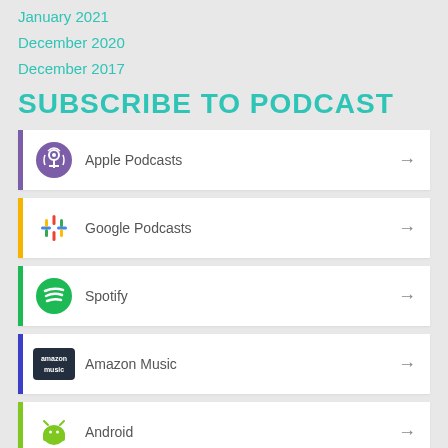January 2021
December 2020
December 2017
SUBSCRIBE TO PODCAST
Apple Podcasts
Google Podcasts
Spotify
Amazon Music
Android